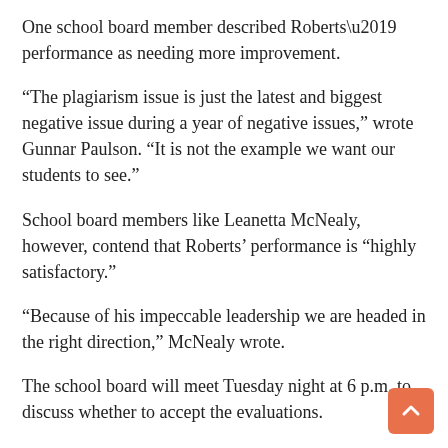One school board member described Roberts’ performance as needing more improvement.
“The plagiarism issue is just the latest and biggest negative issue during a year of negative issues,” wrote Gunnar Paulson. “It is not the example we want our students to see.”
School board members like Leanetta McNealy, however, contend that Roberts’ performance is “highly satisfactory.”
“Because of his impeccable leadership we are headed in the right direction,” McNealy wrote.
The school board will meet Tuesday night at 6 p.m. to discuss whether to accept the evaluations.
“I have had some anxiety about the final outcome, but if I believe and hold onto my faith I know that there is going to be a way to have a 3-2 vote (against accepting the evaluations),” McNealy said Monday night.